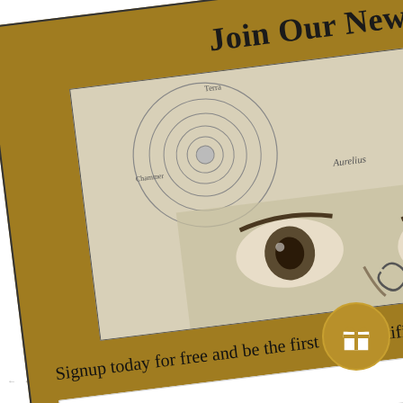the Time of
Join Our Newsletter
[Figure (illustration): Historical astronomical diagram showing concentric circles/orbits with Latin text labels, overlaid with a close-up of a person's eyes peering upward]
Signup today for free and be the first to get notified on new updates.
Enter your email
Subscribe
$05.00
[Figure (illustration): Gift icon in a gold circle]